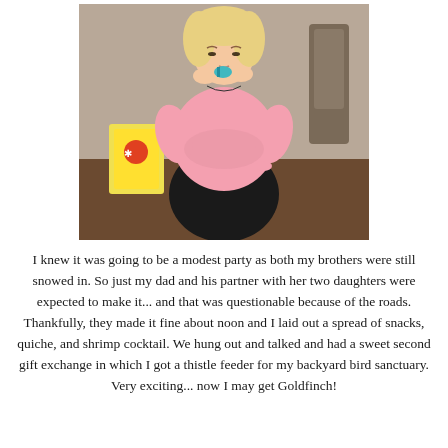[Figure (photo): A young blonde girl in a pink long-sleeve wrap top and black skirt, looking down and holding something small up to her mouth with both hands. Background shows a chair and colorful objects.]
I knew it was going to be a modest party as both my brothers were still snowed in. So just my dad and his partner with her two daughters were expected to make it... and that was questionable because of the roads. Thankfully, they made it fine about noon and I laid out a spread of snacks, quiche, and shrimp cocktail. We hung out and talked and had a sweet second gift exchange in which I got a thistle feeder for my backyard bird sanctuary. Very exciting... now I may get Goldfinch!